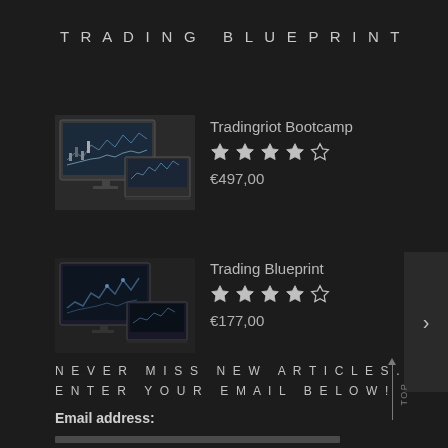TRADING BLUEPRINT
[Figure (screenshot): Product thumbnail showing trading charts on monitors - Tradingriot Bootcamp]
Tradingriot Bootcamp
★★★★☆
€497,00
[Figure (screenshot): Product thumbnail showing trading charts on monitors - Trading Blueprint]
Trading Blueprint
★★★★☆
€177,00
NEVER MISS NEW ARTICLES. ENTER YOUR EMAIL BELOW!
Email address: